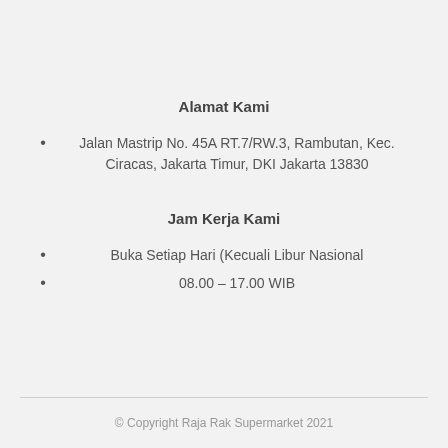Alamat Kami
Jalan Mastrip No. 45A RT.7/RW.3, Rambutan, Kec. Ciracas, Jakarta Timur, DKI Jakarta 13830
Jam Kerja Kami
Buka Setiap Hari (Kecuali Libur Nasional
08.00 – 17.00 WIB
© Copyright Raja Rak Supermarket 2021